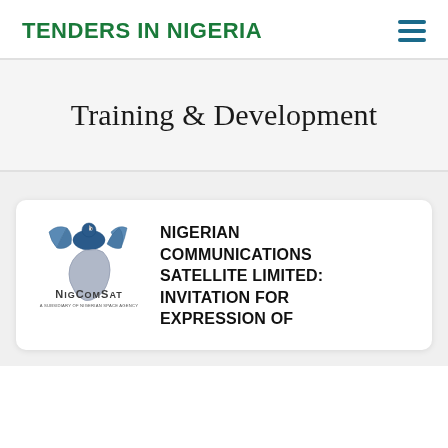TENDERS IN NIGERIA
Training & Development
[Figure (logo): NigComSat logo — stylized satellite dish with map of Africa, text 'NigComSat' below]
NIGERIAN COMMUNICATIONS SATELLITE LIMITED: INVITATION FOR EXPRESSION OF